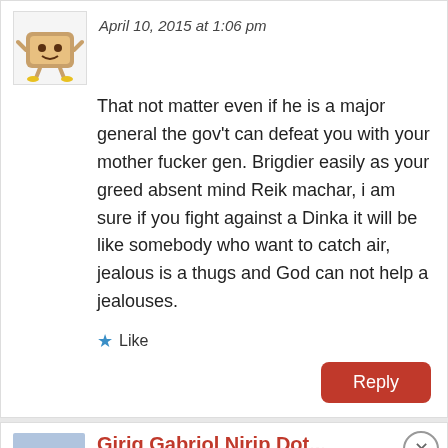April 10, 2015 at 1:06 pm
That not matter even if he is a major general the gov't can defeat you with your mother fucker gen. Brigdier easily as your greed absent mind Reik machar, i am sure if you fight against a Dinka it will be like somebody who want to catch air, jealous is a thugs and God can not help a jealouses.
Like
Reply
Advertisements
[Figure (logo): WooCommerce advertisement banner: purple gradient background, WooCommerce logo on left, text 'The most customizable eCommerce platform' on right]